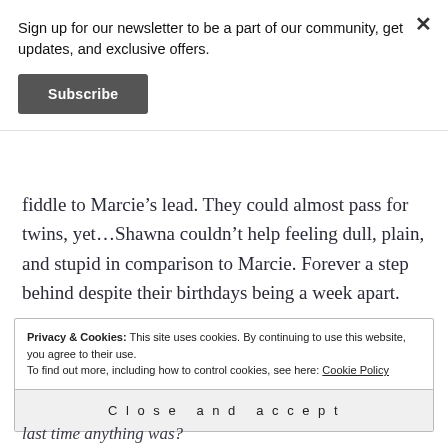Sign up for our newsletter to be a part of our community, get updates, and exclusive offers.
Subscribe
fiddle to Marcie’s lead. They could almost pass for twins, yet…Shawna couldn’t help feeling dull, plain, and stupid in comparison to Marcie. Forever a step behind despite their birthdays being a week apart.
Privacy & Cookies: This site uses cookies. By continuing to use this website, you agree to their use.
To find out more, including how to control cookies, see here: Cookie Policy
Close and accept
last time anything was?